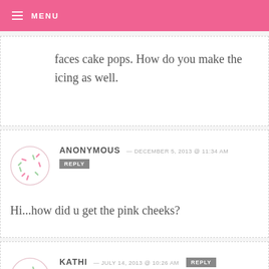MENU
faces cake pops. How do you make the icing as well.
ANONYMOUS — DECEMBER 5, 2013 @ 11:34 AM
REPLY
Hi...how did u get the pink cheeks?
KATHI — JULY 14, 2013 @ 10:26 AM
REPLY
I am planning to make cake pops for...